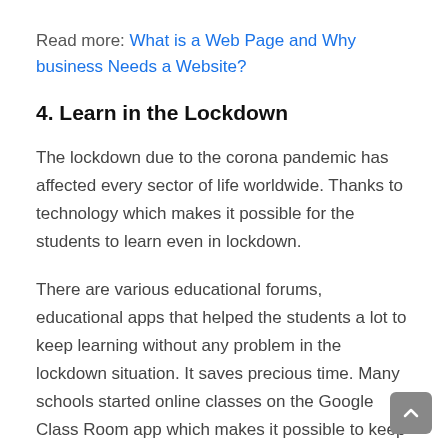Read more: What is a Web Page and Why business Needs a Website?
4. Learn in the Lockdown
The lockdown due to the corona pandemic has affected every sector of life worldwide. Thanks to technology which makes it possible for the students to learn even in lockdown.
There are various educational forums, educational apps that helped the students a lot to keep learning without any problem in the lockdown situation. It saves precious time. Many schools started online classes on the Google Class Room app which makes it possible to keep studying in the regular